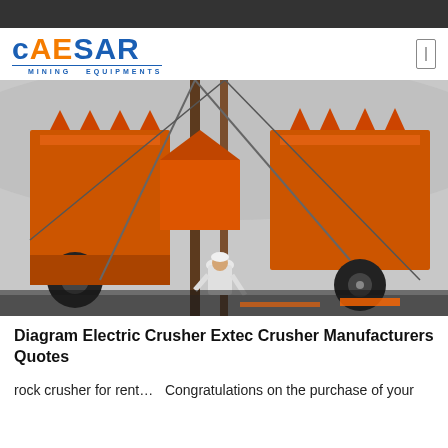[Figure (photo): Orange industrial rock/impact crusher machines on a construction or mining site, with a worker in white overalls bending over between the large orange machines. Cranes and cables visible in background, foggy mountainous environment.]
Diagram Electric Crusher Extec Crusher Manufacturers Quotes
rock crusher for rent…  Congratulations on the purchase of your